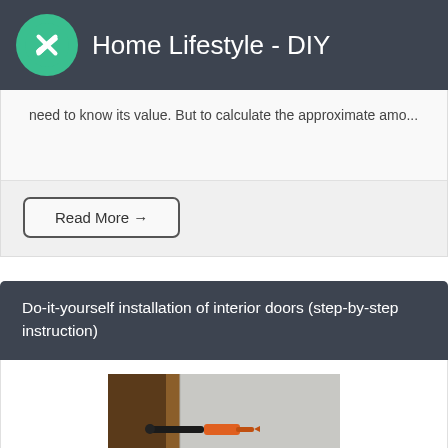Home Lifestyle - DIY
need to know its value. But to calculate the approximate amo...
Read More →
Do-it-yourself installation of interior doors (step-by-step instruction)
[Figure (photo): Close-up photo of a door frame installation showing screws and hardware being fixed into the door frame and wall]
Installing interior doors is not as difficult as it may seem at first